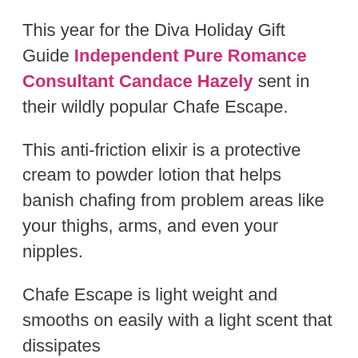This year for the Diva Holiday Gift Guide Independent Pure Romance Consultant Candace Hazely sent in their wildly popular Chafe Escape.
This anti-friction elixir is a protective cream to powder lotion that helps banish chafing from problem areas like your thighs, arms, and even your nipples.
Chafe Escape is light weight and smooths on easily with a light scent that dissipates